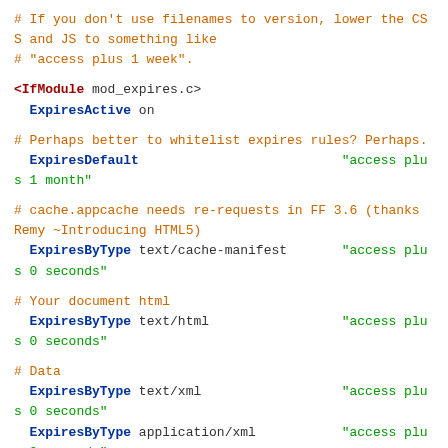# If you don't use filenames to version, lower the CSS and JS to something like
# "access plus 1 week".

<IfModule mod_expires.c>
  ExpiresActive on

# Perhaps better to whitelist expires rules? Perhaps.
  ExpiresDefault                          "access plus 1 month"

# cache.appcache needs re-requests in FF 3.6 (thanks Remy ~Introducing HTML5)
  ExpiresByType text/cache-manifest       "access plus 0 seconds"

# Your document html
  ExpiresByType text/html                 "access plus 0 seconds"

# Data
  ExpiresByType text/xml                  "access plus 0 seconds"
  ExpiresByType application/xml           "access plus 0 seconds"